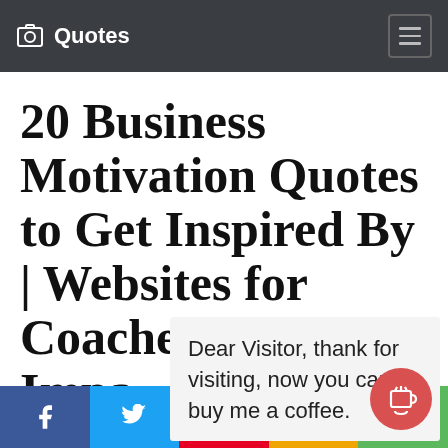Quotes
20 Business Motivation Quotes to Get Inspired By | Websites for Coaches by Lovely Impact
Sat, 04 De… …uelke
Dear Visitor, thank for visiting, now you can buy me a coffee.
[Figure (screenshot): Social share bar with Facebook, Twitter, Pinterest, SMS, and share buttons]
[Figure (illustration): Red circular coffee cup button overlay]